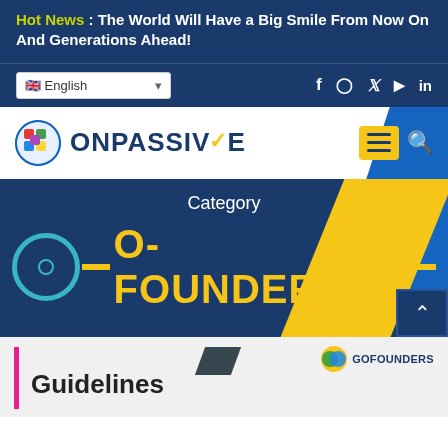Hot News : The World Will Have a Big Smile From Now On And Generations Ahead!
English (language selector with flag)
Social icons: f (Facebook), Instagram, Twitter, YouTube, LinkedIn
[Figure (logo): ONPASSIVE logo with puzzle-globe icon and checkmark]
Category
O-FOUNDERS
[Figure (logo): GOFOUNDERS logo]
Guidelines